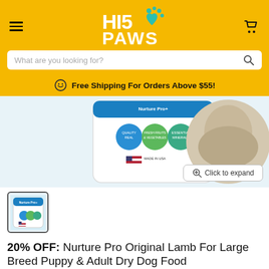HI5 PAWS
What are you looking for?
Free Shipping For Orders Above $55!
[Figure (photo): Product image of Nurture Pro Original Lamb dog food bag, partially visible, showing badge icons and Made in USA flag label. Bottom-right has 'Click to expand' button.]
[Figure (photo): Thumbnail image of Nurture Pro Original Lamb dog food bag]
20% OFF: Nurture Pro Original Lamb For Large Breed Puppy & Adult Dry Dog Food